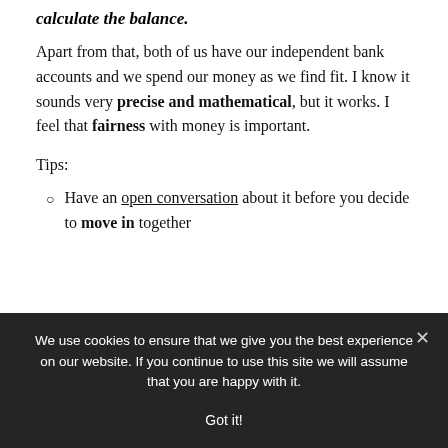calculate the balance.
Apart from that, both of us have our independent bank accounts and we spend our money as we find fit. I know it sounds very precise and mathematical, but it works. I feel that fairness with money is important.
Tips:
Have an open conversation about it before you decide to move in together
We use cookies to ensure that we give you the best experience on our website. If you continue to use this site we will assume that you are happy with it.
Got it!